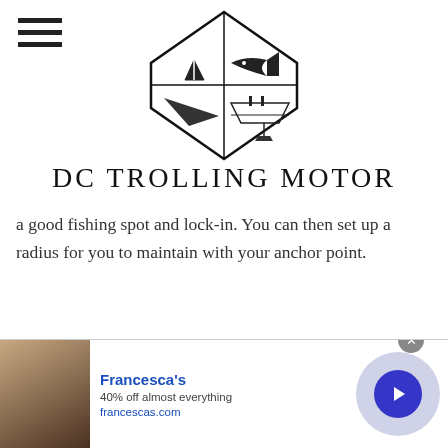[Figure (logo): DC Trolling Motor logo: diamond/hexagon shape with tent, fish, and boat illustrations inside]
DC TROLLING MOTOR
a good fishing spot and lock-in. You can then set up a radius for you to maintain with your anchor point.
[Figure (photo): Advertisement banner: Francesca's — 40% off almost everything — francescas.com, with photo of two women, a circular arrow button, close button, and info icon]